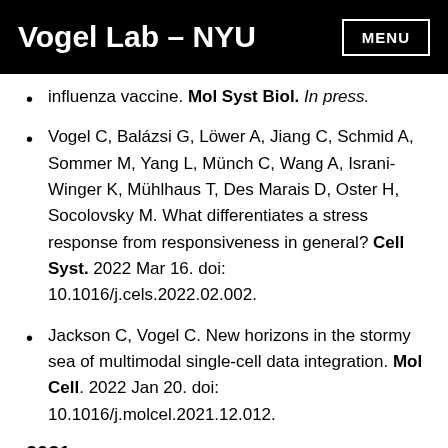Vogel Lab – NYU
influenza vaccine. Mol Syst Biol. In press.
Vogel C, Balázsi G, Löwer A, Jiang C, Schmid A, Sommer M, Yang L, Münch C, Wang A, Israni-Winger K, Mühlhaus T, Des Marais D, Oster H, Socolovsky M. What differentiates a stress response from responsiveness in general? Cell Syst. 2022 Mar 16. doi: 10.1016/j.cels.2022.02.002.
Jackson C, Vogel C. New horizons in the stormy sea of multimodal single-cell data integration. Mol Cell. 2022 Jan 20. doi: 10.1016/j.molcel.2021.12.012.
2021